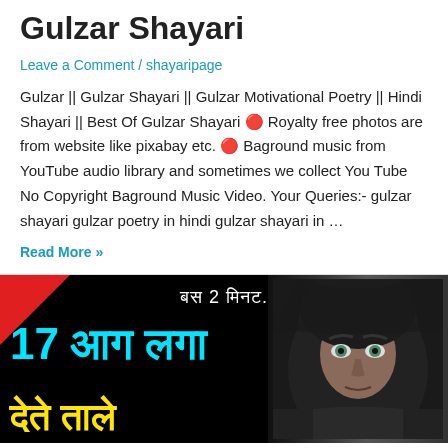Gulzar Shayari
Leave a Comment / shayaripage
Gulzar || Gulzar Shayari || Gulzar Motivational Poetry || Hindi Shayari || Best Of Gulzar Shayari 🔴 Royalty free photos are from website like pixabay etc. 🔴 Baground music from YouTube audio library and sometimes we collect You Tube No Copyright Baground Music Video. Your Queries:- gulzar shayari gulzar poetry in hindi gulzar shayari in …
Read More »
[Figure (photo): Dark thumbnail image with Hindi text. Shows a hooded man with intense eyes on a black background. Red triangle in top-left corner. Text reads: बस 2 मिनट. (in white), 17 आग लगा (in cyan), देते ताले (in yellow).]